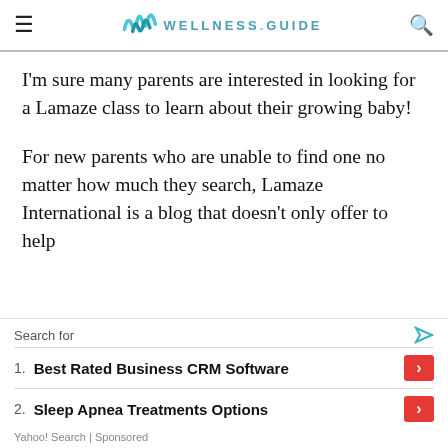WELLNESS.GUIDE
I'm sure many parents are interested in looking for a Lamaze class to learn about their growing baby!
For new parents who are unable to find one no matter how much they search, Lamaze International is a blog that doesn't only offer to help
[Figure (screenshot): Ad overlay: Search for. 1. Best Rated Business CRM Software. 2. Sleep Apnea Treatments Options. Yahoo! Search | Sponsored]